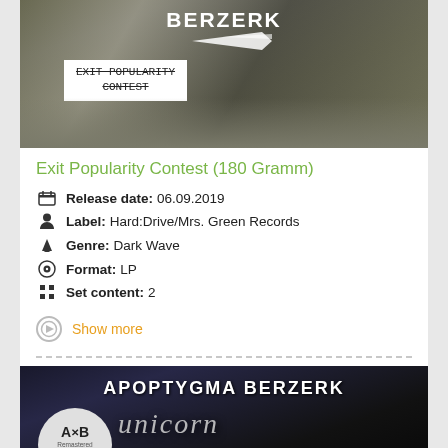[Figure (photo): Album cover top portion showing 'BERZERK' text with arrow graphic and a sticker with strikethrough text 'EXIT POPULARITY CONTEST' on a sandy/gravel textured background]
Exit Popularity Contest (180 Gramm)
Release date: 06.09.2019
Label: Hard:Drive/Mrs. Green Records
Genre: Dark Wave
Format: LP
Set content: 2
Show more
[Figure (photo): Album cover for Apoptygma Berzerk 'Unicorn' Remastered Deluxe Edition, dark background with band name at top, unicorn in gothic font, AXB circular logo on left with 'Remastered Deluxe Edition + Bonus tracks' text]